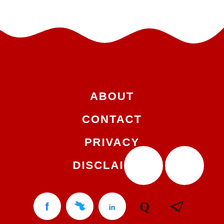[Figure (illustration): White wavy shape at the top of a red background, simulating a liquid wave effect.]
ABOUT
CONTACT
PRIVACY
DISCLAIMER
[Figure (illustration): Two large white circles side by side in the lower right area of the page.]
[Figure (illustration): Social media icons row: Facebook (white circle with f), Twitter (white circle with bird), LinkedIn (white circle with in), Quora (Q letter), Telegram (paper plane icon).]